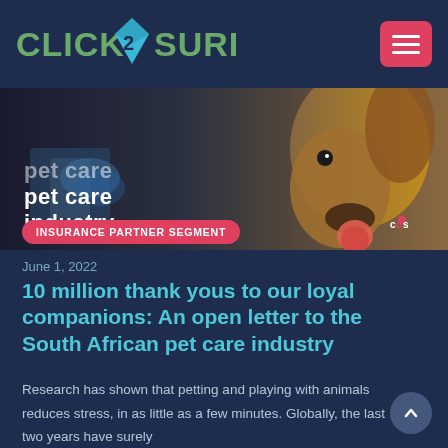CLICK 2 SURE
[Figure (photo): Banner image showing pet care industry — vet with gloves and a dog, with bold text 'pet care industry' overlaid on the left side. A small 'cos' badge appears bottom right.]
INSURANCE PARTNER SEGMENT
June 1, 2022
10 million thank yous to our loyal companions: An open letter to the South African pet care industry
Research has shown that petting and playing with animals reduces stress, in as little as a few minutes. Globally, the last two years have surely